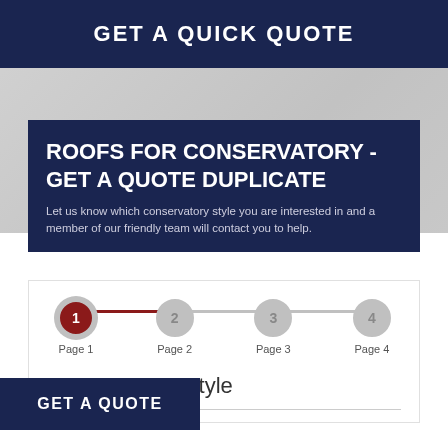GET A QUICK QUOTE
ROOFS FOR CONSERVATORY - GET A QUOTE DUPLICATE
Let us know which conservatory style you are interested in and a member of our friendly team will contact you to help.
[Figure (infographic): 4-step progress indicator with step 1 (Page 1) active in dark red, steps 2–4 (Page 2, Page 3, Page 4) in grey]
Conservatory Style
GET A QUOTE